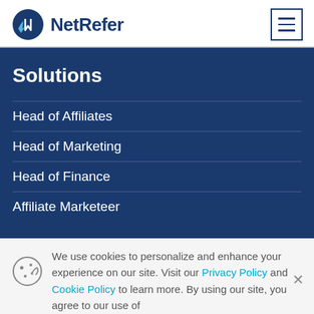NetRefer
Solutions
Head of Affiliates
Head of Marketing
Head of Finance
Affiliate Marketeer
We use cookies to personalize and enhance your experience on our site. Visit our Privacy Policy and Cookie Policy to learn more. By using our site, you agree to our use of